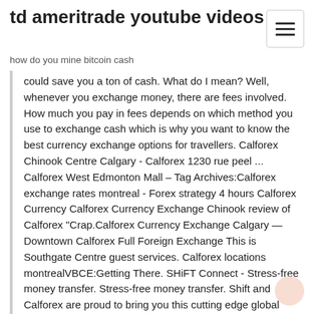td ameritrade youtube videos
how do you mine bitcoin cash
could save you a ton of cash. What do I mean? Well, whenever you exchange money, there are fees involved. How much you pay in fees depends on which method you use to exchange cash which is why you want to know the best currency exchange options for travellers. Calforex Chinook Centre Calgary - Calforex 1230 rue peel ... Calforex West Edmonton Mall – Tag Archives:Calforex exchange rates montreal - Forex strategy 4 hours Calforex Currency Calforex Currency Exchange Chinook review of Calforex "Crap.Calforex Currency Exchange Calgary — Downtown Calforex Full Foreign Exchange This is Southgate Centre guest services. Calforex locations montrealVBCE:Getting There. SHiFT Connect - Stress-free money transfer. Stress-free money transfer. Shift and Calforex are proud to bring you this cutting edge global payments and foreign exchange platform that delivers competitive rates and fast secure global payments. About Us